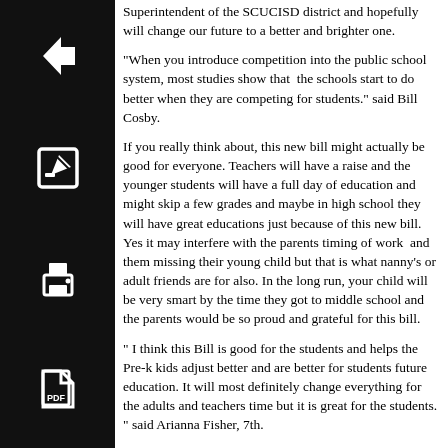[Figure (other): Black icon box with left arrow (back navigation)]
Superintendent of the SCUCISD district and hopefully will change our future to a better and brighter one.
[Figure (other): Black icon box with edit/pencil icon]
"When you introduce competition into the public school system, most studies show that the schools start to do better when they are competing for students." said Bill Cosby.
[Figure (other): Black icon box with print icon]
If you really think about, this new bill might actually be good for everyone. Teachers will have a raise and the younger students will have a full day of education and might skip a few grades and maybe in high school they will have great educations just because of this new bill. Yes it may interfere with the parents timing of work and them missing their young child but that is what nanny’s or adult friends are for also. In the long run, your child will be very smart by the time they got to middle school and the parents would be so proud and grateful for this bill.
[Figure (other): Black icon box with PDF/document icon]
“ I think this Bill is good for the students and helps the Pre-k kids adjust better and are better for students future education. It will most definitely change everything for the adults and teachers time but it is great for the students. ” said Arianna Fisher, 7th.
From what this student said, she is supportive of this bill passing through and thinks that it will be great for everyone in this school district.
In my opinion, i wish i was in elementary school right now because i love seeing little kids and babies because they are just so cute. i am